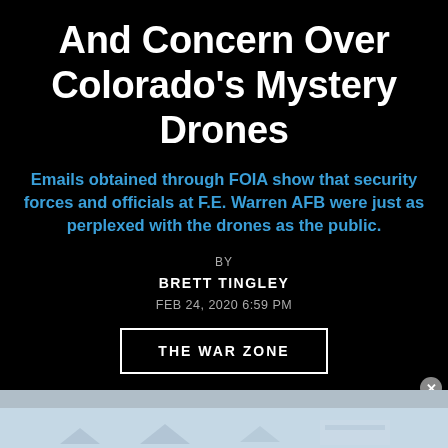And Concern Over Colorado's Mystery Drones
Emails obtained through FOIA show that security forces and officials at F.E. Warren AFB were just as perplexed with the drones as the public.
BY
BRETT TINGLEY
FEB 24, 2020 6:59 PM
THE WAR ZONE
[Figure (photo): Bottom strip showing a light blue/grey area with partial silhouettes of drone aircraft shapes visible at the bottom of the page]